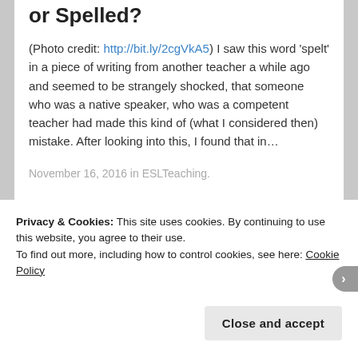or Spelled?
(Photo credit: http://bit.ly/2cgVkA5) I saw this word 'spelt' in a piece of writing from another teacher a while ago and seemed to be strangely shocked, that someone who was a native speaker, who was a competent teacher had made this kind of (what I considered then) mistake. After looking into this, I found that in…
November 16, 2016 in ESLTeaching.
Privacy & Cookies: This site uses cookies. By continuing to use this website, you agree to their use.
To find out more, including how to control cookies, see here: Cookie Policy
Close and accept